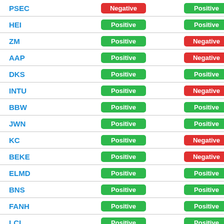| Ticker | Signal 1 | Signal 2 |
| --- | --- | --- |
| PSEC | Negative | Positive |
| HEI | Positive | Positive |
| ZM | Positive | Negative |
| AAP | Positive | Negative |
| DKS | Positive | Positive |
| INTU | Positive | Negative |
| BBW | Positive | Positive |
| JWN | Positive | Positive |
| KC | Positive | Negative |
| BEKE | Positive | Negative |
| ELMD | Positive | Positive |
| BNS | Positive | Positive |
| FANH | Positive | Positive |
| LCI | Positive | Positive |
| LFVN | Positive | Positive |
| RGS | Positive | Positive |